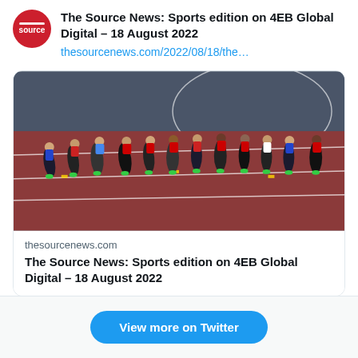[Figure (logo): The Source News red circular logo]
The Source News: Sports edition on 4EB Global Digital – 18 August 2022
thesourcenews.com/2022/08/18/the…
[Figure (photo): Female runners competing in a track race on a red athletics track, many runners in colorful uniforms]
thesourcenews.com
The Source News: Sports edition on 4EB Global Digital – 18 August 2022
View more on Twitter